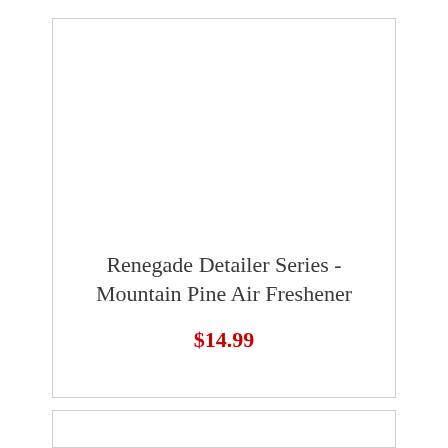Renegade Detailer Series - Mountain Pine Air Freshener
$14.99